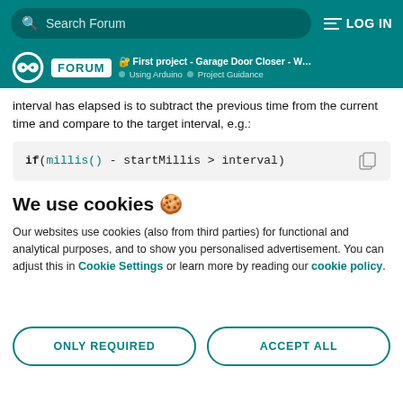Search Forum | LOG IN
First project - Garage Door Closer - Woul... | Using Arduino | Project Guidance
interval has elapsed is to subtract the previous time from the current time and compare to the target interval, e.g.:
We use cookies 🍪
Our websites use cookies (also from third parties) for functional and analytical purposes, and to show you personalised advertisement. You can adjust this in Cookie Settings or learn more by reading our cookie policy.
ONLY REQUIRED
ACCEPT ALL